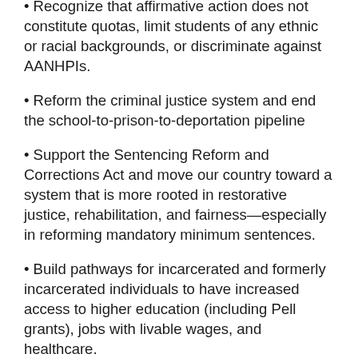• Recognize that affirmative action does not constitute quotas, limit students of any ethnic or racial backgrounds, or discriminate against AANHPIs.
• Reform the criminal justice system and end the school-to-prison-to-deportation pipeline
• Support the Sentencing Reform and Corrections Act and move our country toward a system that is more rooted in restorative justice, rehabilitation, and fairness—especially in reforming mandatory minimum sentences.
• Build pathways for incarcerated and formerly incarcerated individuals to have increased access to higher education (including Pell grants), jobs with livable wages, and healthcare.
• Do not allow criminal violations to lead to automatic deportation without due process. Instead